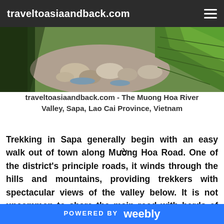traveltoasiaandback.com
[Figure (photo): Aerial view of the Muong Hoa River Valley in Sapa, Vietnam, showing a rocky river alongside lush green rice terraces on hillsides.]
traveltoasiaandback.com - The Muong Hoa River Valley, Sapa, Lao Cai Province, Vietnam
Trekking in Sapa generally begin with an easy walk out of town along Mường Hoa Road. One of the district's principle roads, it winds through the hills and mountains, providing trekkers with spectacular views of the valley below. It is not uncommon to share the main road with herds of water buffalo on their way to plow rice terraces. A few kilometers from town, trekkers leave the main highway behind and travel on narrow
POWERED BY weebly